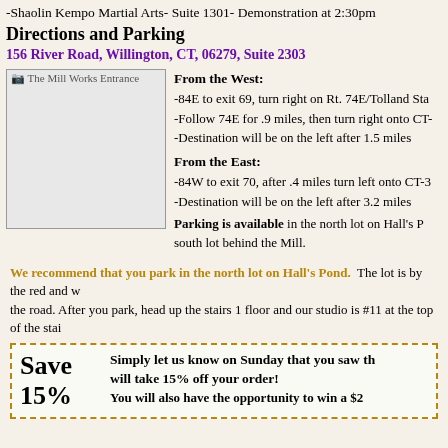-Shaolin Kempo Martial Arts- Suite 1301- Demonstration at 2:30pm
Directions and Parking
156 River Road, Willington, CT, 06279, Suite 2303
[Figure (photo): The Mill Works Entrance - image placeholder]
From the West: -84E to exit 69, turn right on Rt. 74E/Tolland Sta... -Follow 74E for .9 miles, then turn right onto CT-... -Destination will be on the left after 1.5 miles From the East: -84W to exit 70, after .4 miles turn left onto CT-3... -Destination will be on the left after 3.2 miles Parking is available in the north lot on Hall's P... south lot behind the Mill.
We recommend that you park in the north lot on Hall's Pond. The lot is by the red and... the road. After you park, head up the stairs 1 floor and our studio is #11 at the top of the stai...
Save 15% Simply let us know on Sunday that you saw th... will take 15% off your order! You will also have the opportunity to win a $2...